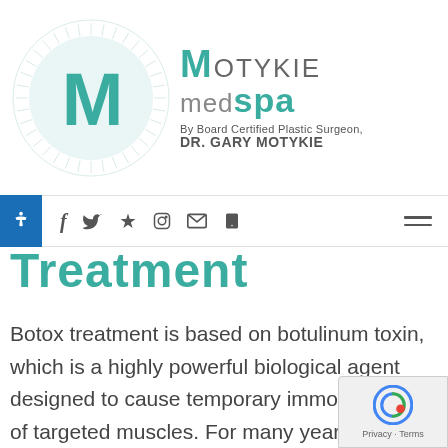[Figure (logo): Motykie MedSpa logo with circular design and teal M letter, alongside text 'MOTYKIE medspa By Board Certified Plastic Surgeon, DR. GARY MOTYKIE']
f  y  yelp  instagram  mail  phone  [hamburger menu]
Treatment
Botox treatment is based on botulinum toxin, which is a highly powerful biological agent designed to cause temporary immobilization of targeted muscles. For many years, Botox has remained one of most popular anti-aging non-surgical